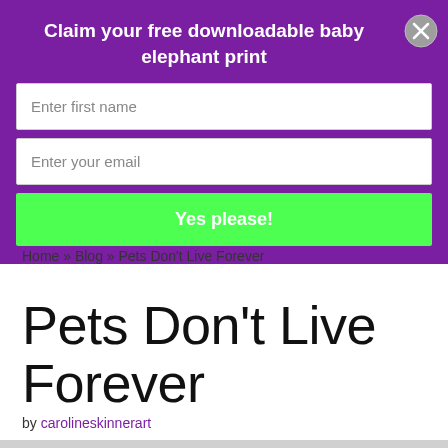[Figure (screenshot): Purple promotional banner with bold white title 'Claim your free downloadable baby elephant print', two form input fields (Enter first name, Enter your email), a green 'Yes please!' button, and an X close button in the top right corner.]
Home » Blog » Pets Don't Live Forever
Pets Don't Live Forever
by carolineskinnerart